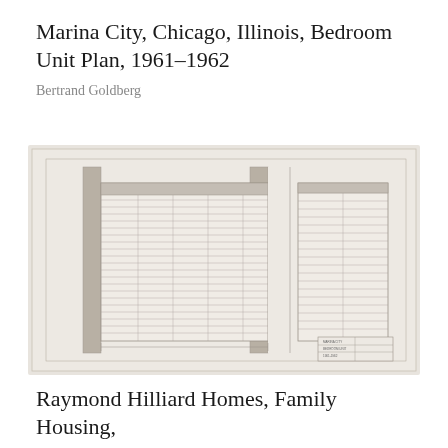Marina City, Chicago, Illinois, Bedroom Unit Plan, 1961–1962
Bertrand Goldberg
[Figure (engineering-diagram): Architectural floor plan drawing for Marina City Bedroom Unit, showing two large vertical rectangular sections side by side. The left larger section contains a dense grid of horizontal lines representing room layouts or structural elements. The right smaller section also contains a grid. Two thick vertical bar elements flank the main drawing. A title block is visible in the lower right corner. Drawing is rendered in pencil on light paper with a faint border.]
Raymond Hilliard Homes, Family Housing,